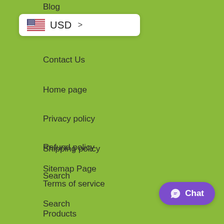Blog
[Figure (screenshot): Currency selector dropdown showing US flag and USD text with arrow]
Contact Us
Home page
Privacy policy
Refund policy
Search
Sitemap Page
Shipping policy
Terms of service
Products
[Figure (screenshot): WhatsApp Chat button in purple rounded rectangle at bottom right]